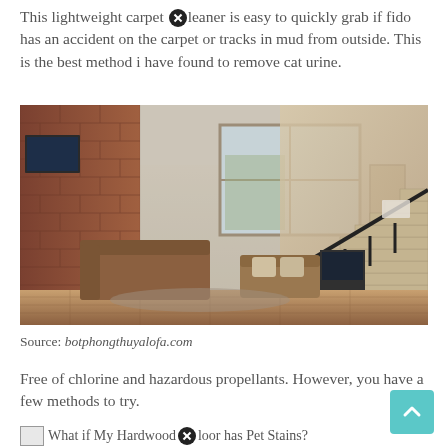This lightweight carpet cleaner is easy to quickly grab if fido has an accident on the carpet or tracks in mud from outside. This is the best method i have found to remove cat urine.
[Figure (photo): Interior living room photo showing brown leather sofa, exposed brick wall, window with natural light, wood staircase with black metal railing, and hardwood floors.]
Source: botphongthuyalofa.com
Free of chlorine and hazardous propellants. However, you have a few methods to try.
What if My Hardwood Floor has Pet Stains?